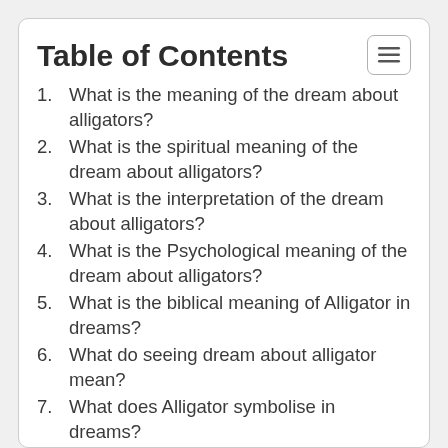Table of Contents
1. What is the meaning of the dream about alligators?
2. What is the spiritual meaning of the dream about alligators?
3. What is the interpretation of the dream about alligators?
4. What is the Psychological meaning of the dream about alligators?
5. What is the biblical meaning of Alligator in dreams?
6. What do seeing dream about alligator mean?
7. What does Alligator symbolise in dreams?
8. What is the significance of Alligator in a dream?